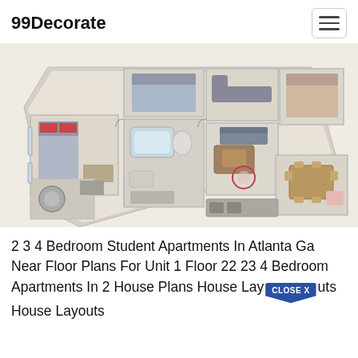99Decorate
[Figure (illustration): 3D bird's eye view floor plan rendering of a multi-bedroom apartment with rooms including bedrooms, bathrooms, living area, kitchen, and dining area with furniture depicted.]
2 3 4 Bedroom Student Apartments In Atlanta Ga Near Floor Plans For Unit 1 Floor 22 23 4 Bedroom Apartments In 2 House Plans House Layouts House Layouts